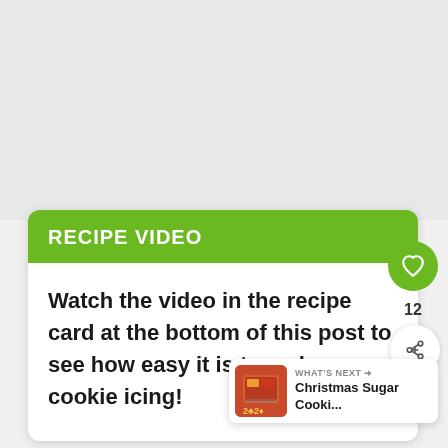[Figure (other): Light gray blank area representing an image or video placeholder at the top of the page]
RECIPE VIDEO
Watch the video in the recipe card at the bottom of this post to see how easy it is to make sugar cookie icing!